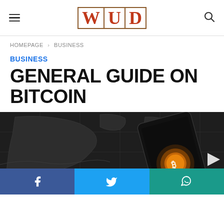WUD — hamburger menu and search icon header
HOMEPAGE › BUSINESS
BUSINESS
GENERAL GUIDE ON BITCOIN
[Figure (photo): Dark background world map with a smartphone displaying a glowing Bitcoin coin symbol, set on a dark textured surface. A white triangle play button icon is visible on the right side.]